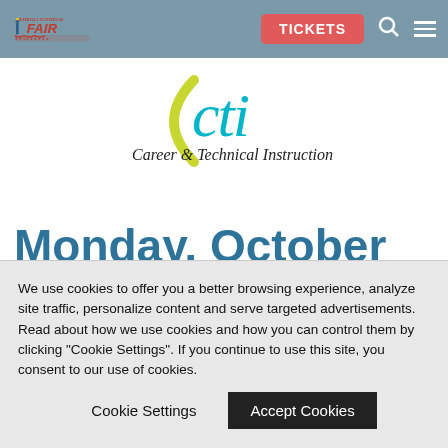Georgia National Fair — TICKETS
[Figure (logo): CTI Career & Technical Instruction logo with stylized 'cti' text and tagline]
Monday, October 10th
[Figure (logo): Georgia Technology Student Association (TSA) logo with state shape and bold red TSA letters]
We use cookies to offer you a better browsing experience, analyze site traffic, personalize content and serve targeted advertisements. Read about how we use cookies and how you can control them by clicking "Cookie Settings". If you continue to use this site, you consent to our use of cookies.
Cookie Settings | Accept Cookies